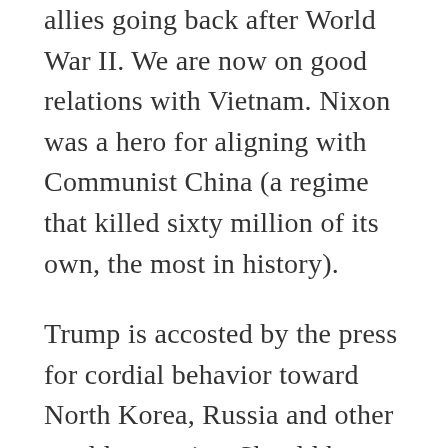allies going back after World War II. We are now on good relations with Vietnam. Nixon was a hero for aligning with Communist China (a regime that killed sixty million of its own, the most in history).
Trump is accosted by the press for cordial behavior toward North Korea, Russia and other world tyrannies. Should he ignore or threaten them (he’s put sanctions on Russia)? Should we break relations with the over 175 dictatorships in the world? Franklin D. Roosevelt called Josef Stalin “Uncle Joe,” and was revered while Mikhail Gorbachev had twelve (yes twelve) summits with Reagan/Bush